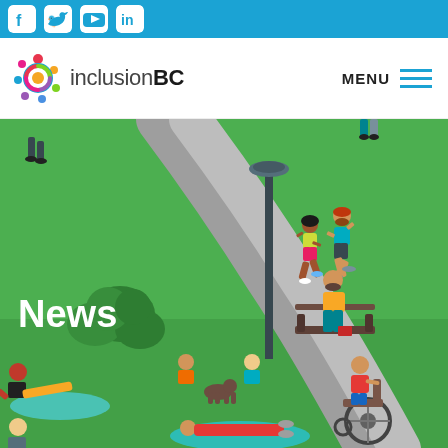Social media icons: Facebook, Twitter, YouTube, LinkedIn
[Figure (logo): Inclusion BC logo with colorful circular icon and text 'inclusionBC']
MENU
[Figure (illustration): Isometric illustration of a diverse group of people in a park: joggers, a person on a bench, a person in a wheelchair, people doing yoga on mats, children with a dog, and pedestrians on a path with a lamppost and green bushes.]
News